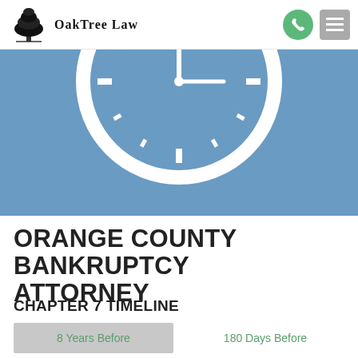OakTree Law
[Figure (illustration): Blue banner with a partial white clock/timer icon visible at the top, showing a stylized analog clock face with tick marks and hands on a blue background.]
ORANGE COUNTY BANKRUPTCY ATTORNEY
CHAPTER 7 TIMELINE
8 Years Before
180 Days Before